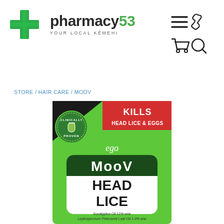[Figure (logo): Pharmacy 53 logo with green cross and text 'pharmacy53 YOUR LOCAL KĒMEHI']
[Figure (infographic): Navigation icons: hamburger menu, phone, shopping cart, search]
STORE / HAIR CARE / MOOV
[Figure (photo): Moov Head Lice product box - green with red banner 'KILLS HEAD LICE & EGGS', clinically proven badge, ego brand logo, text 'Moov HEAD LICE', Eucalyptus Oil 11% w/w, Leptospermum Petersonii Leaf Oil 1.0% w/w]